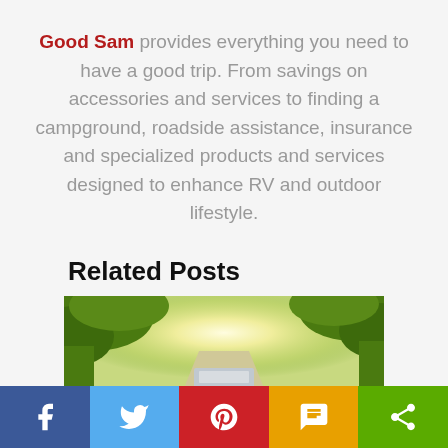Good Sam provides everything you need to have a good trip. From savings on accessories and services to finding a campground, roadside assistance, insurance and specialized products and services designed to enhance RV and outdoor lifestyle.
Related Posts
[Figure (photo): Sunlit road through green trees, bright sunlight breaking through canopy, RV visible at bottom]